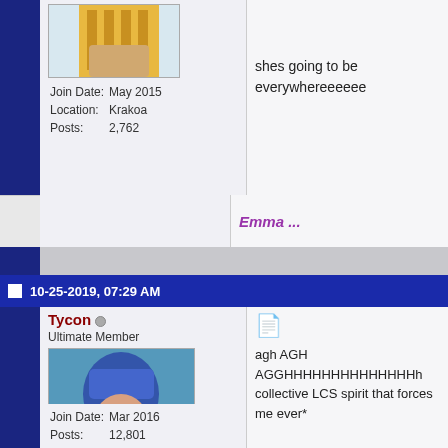[Figure (illustration): Top user avatar - anime/comic character with yellow/golden hair]
Join Date: May 2015
Location: Krakoa
Posts: 2,762
shes going to be everywhereeeeee
Emma ...
10-25-2019, 07:29 AM
Tycon
Ultimate Member
[Figure (illustration): Tycon user avatar - comic book character with blue helmet and dark hair, wielding red energy]
Join Date: Mar 2016
Posts: 12,801
agh AGH AGGHHHHHHHHHHHHHH collective LCS spirit that forces me ever*